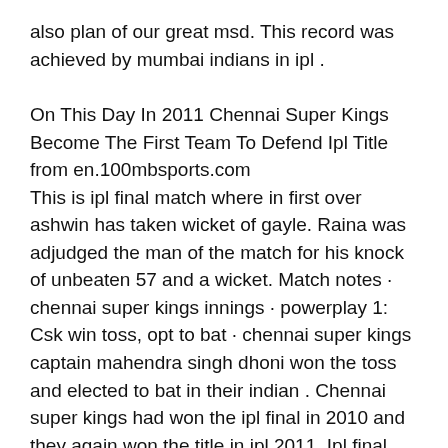also plan of our great msd. This record was achieved by mumbai indians in ipl .
On This Day In 2011 Chennai Super Kings Become The First Team To Defend Ipl Title from en.100mbsports.com
This is ipl final match where in first over ashwin has taken wicket of gayle. Raina was adjudged the man of the match for his knock of unbeaten 57 and a wicket. Match notes · chennai super kings innings · powerplay 1: Csk win toss, opt to bat · chennai super kings captain mahendra singh dhoni won the toss and elected to bat in their indian . Chennai super kings had won the ipl final in 2010 and they again won the title in ipl 2011. Ipl final 2011 between chennai super kings and royal challengers banglore.chennai triumphing to glory for . And it was also plan of our great msd. 2011 ipl final (chennai vs bangalore)